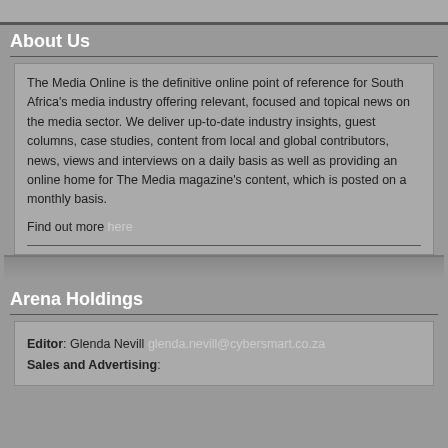About Us
The Media Online is the definitive online point of reference for South Africa's media industry offering relevant, focused and topical news on the media sector. We deliver up-to-date industry insights, guest columns, case studies, content from local and global contributors, news, views and interviews on a daily basis as well as providing an online home for The Media magazine's content, which is posted on a monthly basis.
Find out more here
Arena Holdings
Editor: Glenda Nevill glenda.nevill@cybersmart.co.za
Sales and Advertising: